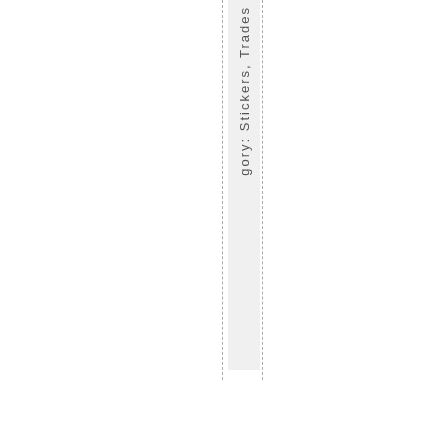gory: Stickers, Trades
1
comment